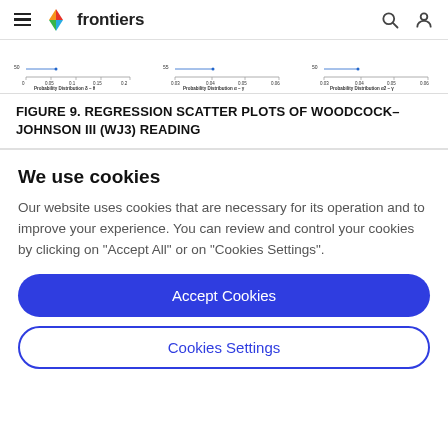frontiers
[Figure (continuous-plot): Three small probability distribution plots (Probability Distribution δ-θ, Probability Distribution α-γ, Probability Distribution α2-γ) showing horizontal line plots with x-axis values ranging approximately 0 to 0.2, 0.03 to 0.06, and 0.03 to 0.06 respectively, with y-axis value around 50-55.]
FIGURE 9. REGRESSION SCATTER PLOTS OF WOODCOCK–JOHNSON III (WJ3) READING
We use cookies
Our website uses cookies that are necessary for its operation and to improve your experience. You can review and control your cookies by clicking on "Accept All" or on "Cookies Settings".
Accept Cookies
Cookies Settings